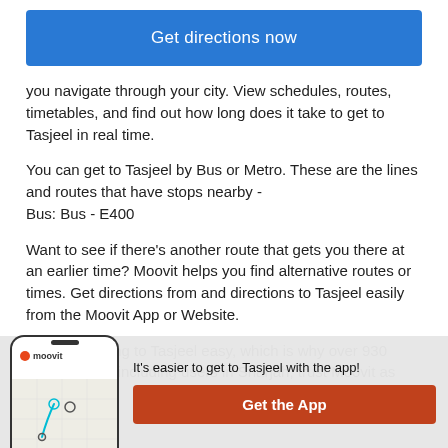[Figure (screenshot): Blue button reading 'Get directions now']
you navigate through your city. View schedules, routes, timetables, and find out how long does it take to get to Tasjeel in real time.
You can get to Tasjeel by Bus or Metro. These are the lines and routes that have stops nearby -
Bus: Bus - E400
Want to see if there's another route that gets you there at an earlier time? Moovit helps you find alternative routes or times. Get directions from and directions to Tasjeel easily from the Moovit App or Website.
We make riding to Tasjeel easy, which is why over 930 million users, including users in Sharjah, trust Moovit as
[Figure (screenshot): Moovit app promotion banner with phone illustration showing map, text 'It's easier to get to Tasjeel with the app!' and orange 'Get the App' button]